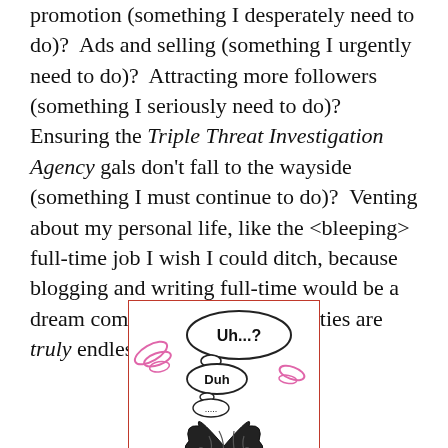promotion (something I desperately need to do)?  Ads and selling (something I urgently need to do)?  Attracting more followers (something I seriously need to do)?  Ensuring the Triple Threat Investigation Agency gals don't fall to the wayside (something I must continue to do)?  Venting about my personal life, like the <bleeping> full-time job I wish I could ditch, because blogging and writing full-time would be a dream come true!?  The possibilities are truly endless.
[Figure (illustration): A cartoon illustration of a brain with thought bubbles. The largest bubble at the top contains bold text 'Uh...?', a medium bubble below it says 'Duh', and a small bubble below that shows '....'. Pink decorative swirl elements appear on the left and right sides. The illustration is enclosed in a red border rectangle.]